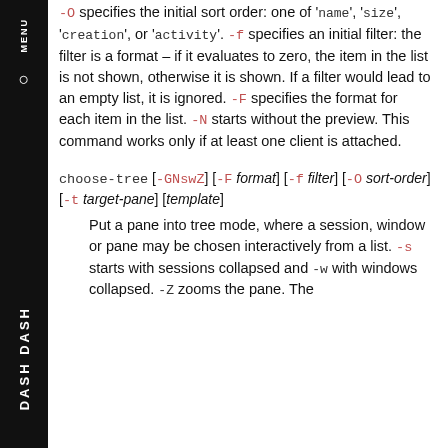-O specifies the initial sort order: one of 'name', 'size', 'creation', or 'activity'. -f specifies an initial filter: the filter is a format - if it evaluates to zero, the item in the list is not shown, otherwise it is shown. If a filter would lead to an empty list, it is ignored. -F specifies the format for each item in the list. -N starts without the preview. This command works only if at least one client is attached.
choose-tree [-GNswZ] [-F format] [-f filter] [-O sort-order] [-t target-pane] [template]
Put a pane into tree mode, where a session, window or pane may be chosen interactively from a list. -s starts with sessions collapsed and -w with windows collapsed. -Z zooms the pane. The